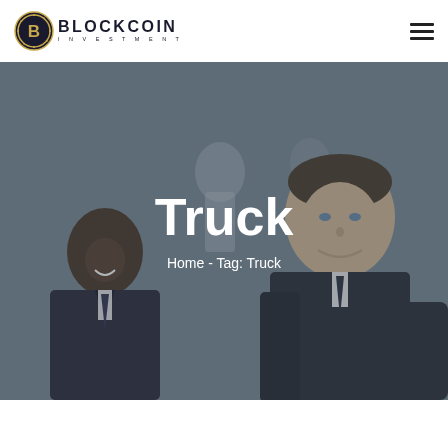BLOCKCOIN INVESTMENT
[Figure (photo): Hero banner with blurred background showing business professionals in suits smiling, with a dark overlay. Two men in suits are visible, one Black man on the left and one white man on the right.]
Truck
Home - Tag: Truck